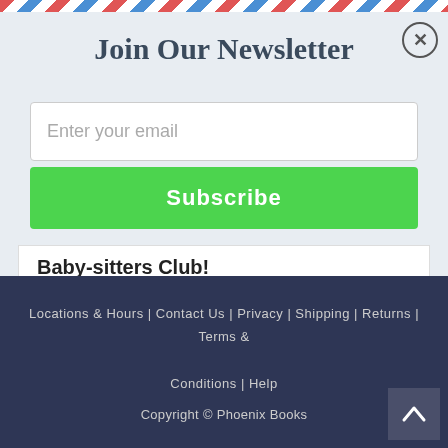Join Our Newsletter
Enter your email
Subscribe
Baby-sitters Club!
The best friends you'll ever have!
Locations & Hours | Contact Us | Privacy | Shipping | Returns | Terms & Conditions | Help
Copyright © Phoenix Books